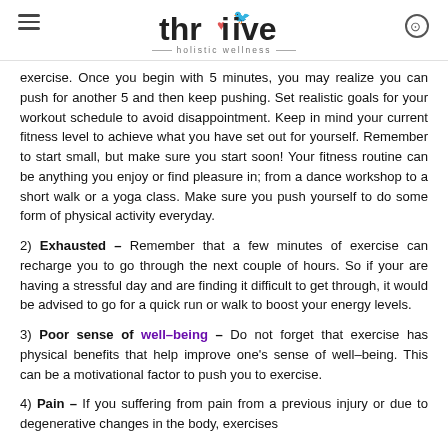thriive - holistic wellness
exercise. Once you begin with 5 minutes, you may realize you can push for another 5 and then keep pushing. Set realistic goals for your workout schedule to avoid disappointment. Keep in mind your current fitness level to achieve what you have set out for yourself. Remember to start small, but make sure you start soon! Your fitness routine can be anything you enjoy or find pleasure in; from a dance workshop to a short walk or a yoga class. Make sure you push yourself to do some form of physical activity everyday.
2) Exhausted – Remember that a few minutes of exercise can recharge you to go through the next couple of hours. So if your are having a stressful day and are finding it difficult to get through, it would be advised to go for a quick run or walk to boost your energy levels.
3) Poor sense of well-being – Do not forget that exercise has physical benefits that help improve one's sense of well-being. This can be a motivational factor to push you to exercise.
4) Pain – If you suffering from pain from a previous injury or due to degenerative changes in the body, exercises